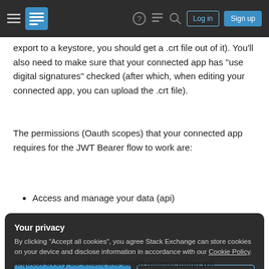Stack Exchange navigation bar with hamburger menu, logo, help, chat, search icons, Log in and Sign up buttons
export to a keystore, you should get a .crt file out of it). You'll also need to make sure that your connected app has "use digital signatures" checked (after which, when editing your connected app, you can upload the .crt file).
The permissions (Oauth scopes) that your connected app requires for the JWT Bearer flow to work are:
Access and manage your data (api)
Your privacy
By clicking "Accept all cookies", you agree Stack Exchange can store cookies on your device and disclose information in accordance with our Cookie Policy.
[Accept all cookies] [Customize settings]
request every so often, the same access token will